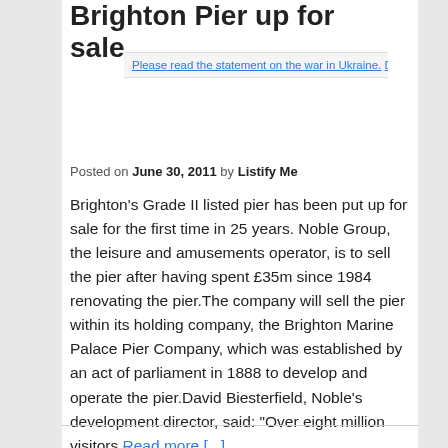Brighton Pier up for sale
Please read the statement on the war in Ukraine. Dismiss ›
Posted on June 30, 2011 by Listify Me
Brighton's Grade II listed pier has been put up for sale for the first time in 25 years. Noble Group, the leisure and amusements operator, is to sell the pier after having spent £35m since 1984 renovating the pier.The company will sell the pier within its holding company, the Brighton Marine Palace Pier Company, which was established by an act of parliament in 1888 to develop and operate the pier.David Biesterfield, Noble's development director, said: "Over eight million visitors Read more [...]
Posted in Listed For Sale